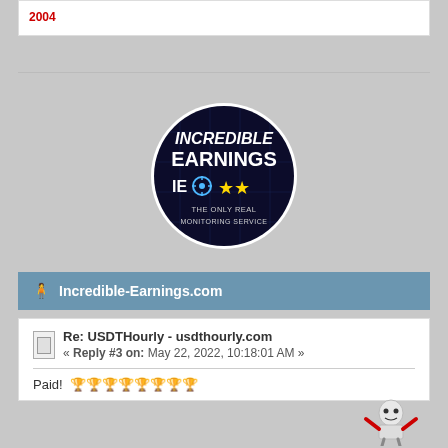2004
[Figure (logo): Incredible Earnings logo — circular dark background with text INCREDIBLE EARNINGS IE and gold stars, subtitle THE ONLY REAL MONITORING SERVICE]
Incredible-Earnings.com
Re: USDTHourly - usdthourly.com
« Reply #3 on: May 22, 2022, 10:18:01 AM »
Paid!  🏆🏆🏆🏆🏆🏆🏆🏆